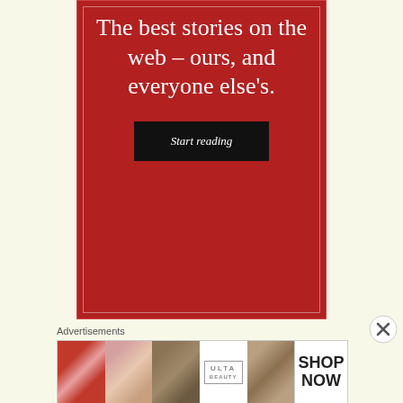[Figure (illustration): Red advertisement banner with white serif text reading 'The best stories on the web – ours, and everyone else's.' with a black 'Start reading' button. White inner border outline on red background.]
Advertisements
[Figure (photo): Horizontal strip of beauty/cosmetics advertisement images including lips with makeup, a makeup brush, eye with dramatic makeup, Ulta Beauty logo, smoky eye closeup, and a 'SHOP NOW' call-to-action panel.]